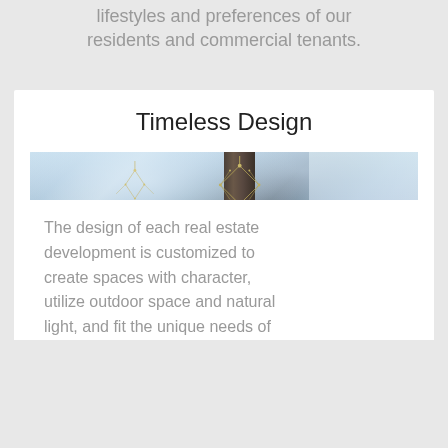lifestyles and preferences of our residents and commercial tenants.
Timeless Design
[Figure (photo): Interior photo of a luxury residential or commercial common area showing a large kitchen island with a white quartz countertop and double sink, dark cabinetry below, geometric chandeliers hanging from the ceiling, a dark stone or tile accent column/pillar in the background, and a living lounge area visible in the background right with blue accent pillows.]
The design of each real estate development is customized to create spaces with character, utilize outdoor space and natural light, and fit the unique needs of